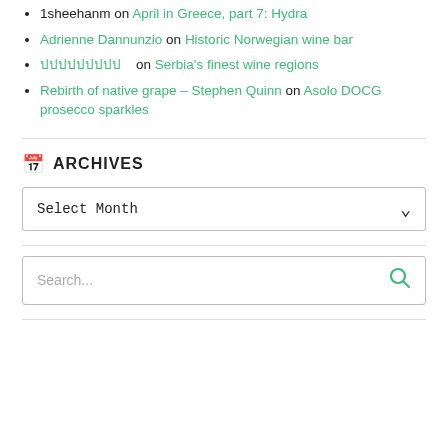1sheehanm on April in Greece, part 7: Hydra
Adrienne Dannunzio on Historic Norwegian wine bar
ปปปปปปปปป on Serbia's finest wine regions
Rebirth of native grape – Stephen Quinn on Asolo DOCG prosecco sparkles
ARCHIVES
Select Month
Search...